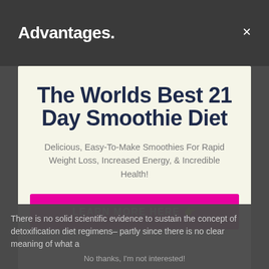Advantages. ×
The Worlds Best 21 Day Smoothie Diet
Delicious, Easy-To-Make Smoothies For Rapid Weight Loss, Increased Energy, & Incredible Health!
LEARN MORE HERE 👉
There is no solid scientific evidence to sustain the concept of detoxification diet regimens– partly since there is no clear meaning of what a
No thanks, I'm not interested!